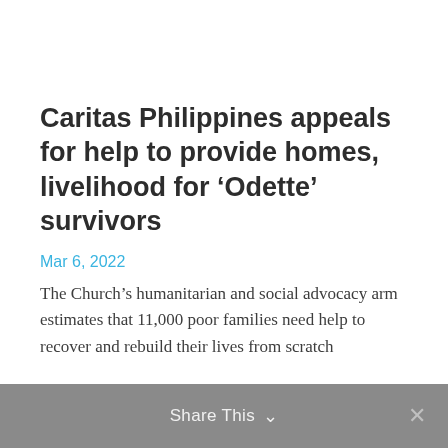Caritas Philippines appeals for help to provide homes, livelihood for ‘Odette’ survivors
Mar 6, 2022
The Church’s humanitarian and social advocacy arm estimates that 11,000 poor families need help to recover and rebuild their lives from scratch
Share This ⌃  ×